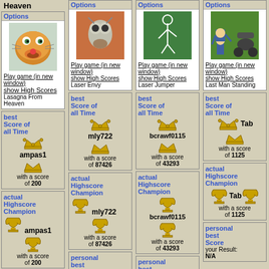Heaven
Options - Play game (in new window) - show High Scores - Lasagna From Heaven
best Score of all Time: ampas1 with a score of 200
actual Highscore Champion: ampas1 with a score of 200
Options - Play game (in new window) - show High Scores - Laser Envy
best Score of all Time: mly722 with a score of 87426
actual Highscore Champion: mly722 with a score of 87426
personal best Score - your Result: N/A
Options - Play game (in new window) - show High Scores - Laser Jumper
best Score of all Time: bcrawf0115 with a score of 43293
actual Highscore Champion: bcrawf0115 with a score of 43293
personal best Score
Options - Play game (in new window) - show High Scores - Last Man Standing
best Score of all Time: Tab with a score of 1125
actual Highscore Champion: Tab with a score of 1125
personal best Score - your Result: N/A